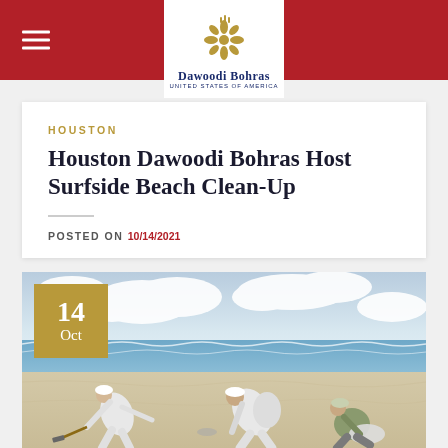The Dawoodi Bohras - United States of America
HOUSTON
Houston Dawoodi Bohras Host Surfside Beach Clean-Up
POSTED ON 10/14/2021
[Figure (photo): Three people in white traditional clothing cleaning up a beach, with ocean waves in the background. One person on the left uses a long-handled tool, one person in the center bends over picking up debris, and one person on the right crouches collecting items into white bags. A date badge shows '14 Oct' in gold.]